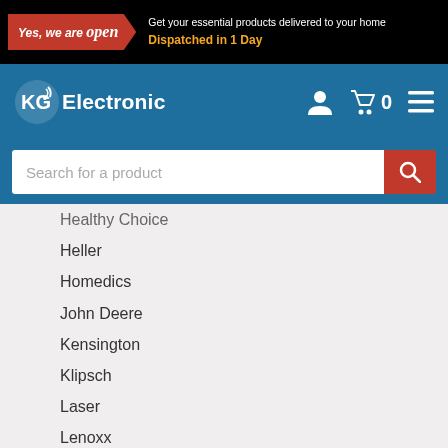Get your essential products delivered to your home. Dispatched in 1 Day
[Figure (logo): KG Electronic logo with nav icons (user, cart with 0, menu)]
Search for a product
Healthy Choice
Heller
Homedics
John Deere
Kensington
Klipsch
Laser
Lenoxx
Lifeproof
Marley
Maxim
Mbeat
Intex
Morphy Richards
Navigator